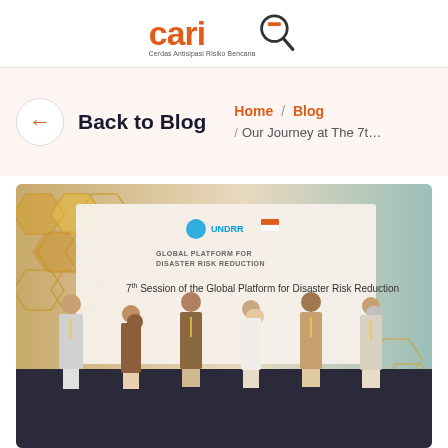[Figure (logo): CARI logo — orange bold 'cari' text with a magnifying glass, tagline 'Cerdas Antisipasi Risiko Bencana']
← Back to Blog
Home / Blog / Our Journey at The 7t…
[Figure (photo): Group of six people standing in front of a banner reading '7th Session of the Global Platform for Disaster Risk Reduction' with UNDRR and Indonesian government logos, honeycomb decorative background]